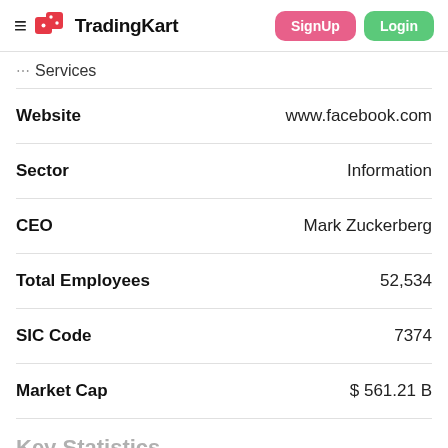TradingKart — SignUp | Login
... Services
| Field | Value |
| --- | --- |
| Website | www.facebook.com |
| Sector | Information |
| CEO | Mark Zuckerberg |
| Total Employees | 52,534 |
| SIC Code | 7374 |
| Market Cap | $ 561.21 B |
Key Statistics